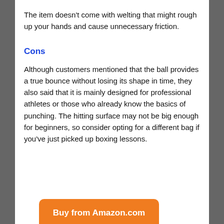The item doesn't come with welting that might rough up your hands and cause unnecessary friction.
Cons
Although customers mentioned that the ball provides a true bounce without losing its shape in time, they also said that it is mainly designed for professional athletes or those who already know the basics of punching. The hitting surface may not be big enough for beginners, so consider opting for a different bag if you've just picked up boxing lessons.
Buy from Amazon.com